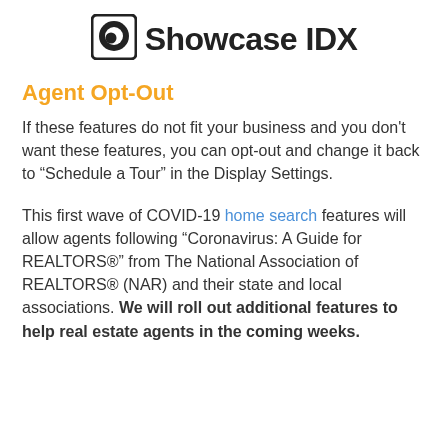[Figure (logo): Showcase IDX logo with circular icon on the left and bold text 'Showcase IDX' on the right]
Agent Opt-Out
If these features do not fit your business and you don't want these features, you can opt-out and change it back to “Schedule a Tour” in the Display Settings.
This first wave of COVID-19 home search features will allow agents following “Coronavirus: A Guide for REALTORS®” from The National Association of REALTORS® (NAR) and their state and local associations. We will roll out additional features to help real estate agents in the coming weeks.